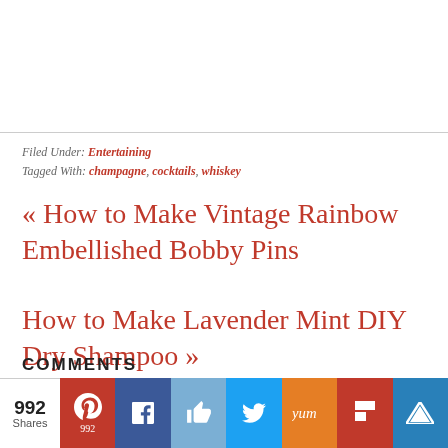Filed Under: Entertaining
Tagged With: champagne, cocktails, whiskey
« How to Make Vintage Rainbow Embellished Bobby Pins
How to Make Lavender Mint DIY Dry Shampoo »
COMMENTS